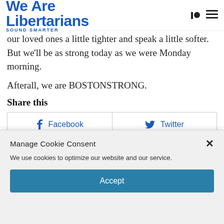We Are Libertarians | SOUND SMARTER
our loved ones a little tighter and speak a little softer. But we'll be as strong today as we were Monday morning.
Afterall, we are BOSTONSTRONG.
Share this
Facebook | Twitter | Email (share buttons)
Manage Cookie Consent
We use cookies to optimize our website and our service.
Accept